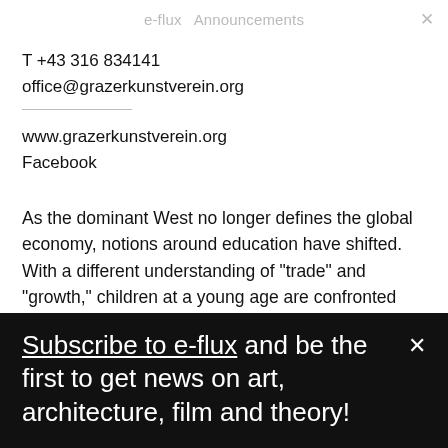e-flux Announcements ×
T +43 316 834141
office@grazerkunstverein.org
www.grazerkunstverein.org
Facebook
As the dominant West no longer defines the global economy, notions around education have shifted. With a different understanding of "trade" and "growth," children at a young age are confronted with new global systems less geared towards Western understanding. In response to the leitmotiv of this year's steirischer herbst, the Grazer
Subscribe to e-flux and be the first to get news on art, architecture, film and theory!